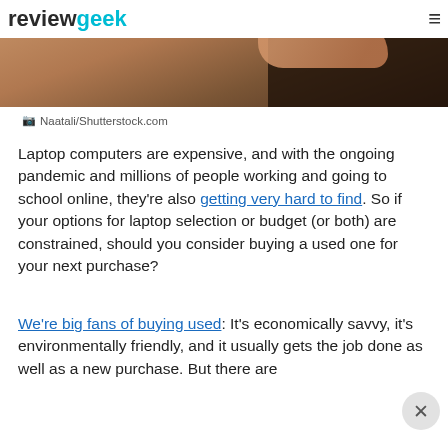reviewgeek
[Figure (photo): Close-up photo of a person's hands on a laptop/keyboard, with a dark trackpad visible, warm brown tones]
Naatali/Shutterstock.com
Laptop computers are expensive, and with the ongoing pandemic and millions of people working and going to school online, they're also getting very hard to find. So if your options for laptop selection or budget (or both) are constrained, should you consider buying a used one for your next purchase?
We're big fans of buying used: It's economically savvy, it's environmentally friendly, and it usually gets the job done as well as a new purchase. But there are